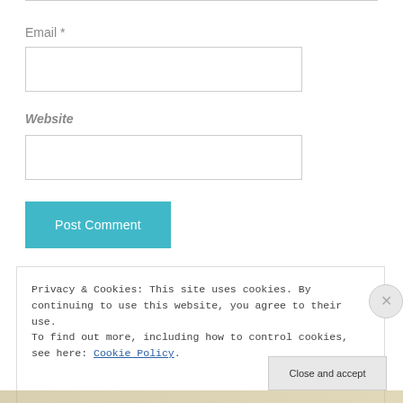Email *
[Figure (screenshot): Empty email input text field]
Website
[Figure (screenshot): Empty website input text field]
[Figure (screenshot): Post Comment button (teal/cyan background, white text)]
Privacy & Cookies: This site uses cookies. By continuing to use this website, you agree to their use.
To find out more, including how to control cookies, see here: Cookie Policy
[Figure (screenshot): Close and accept button (gray background)]